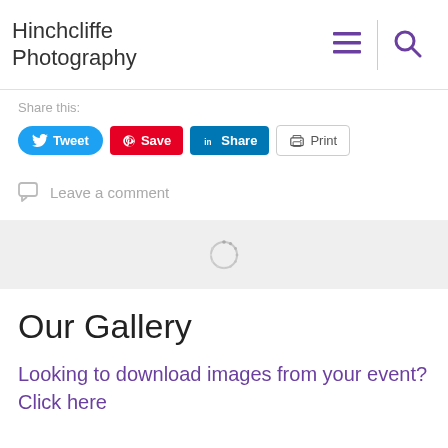Hinchcliffe Photography
Share this:
[Figure (screenshot): Share buttons: Tweet (blue, rounded), Save (red, Pinterest), Share (blue, LinkedIn), Print (white, outlined)]
Leave a comment
[Figure (other): Loading spinner icon in gray section]
Our Gallery
Looking to download images from your event? Click here